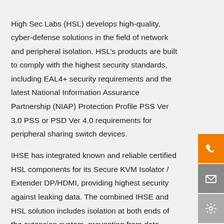High Sec Labs (HSL) develops high-quality, cyber-defense solutions in the field of network and peripheral isolation. HSL’s products are built to comply with the highest security standards, including EAL4+ security requirements and the latest National Information Assurance Partnership (NIAP) Protection Profile PSS Ver 3.0 PSS or PSD Ver 4.0 requirements for peripheral sharing switch devices.
IHSE has integrated known and reliable certified HSL components for its Secure KVM Isolator / Extender DP/HDMI, providing highest security against leaking data. The combined IHSE and HSL solution includes isolation at both ends of the extension system, preventing from data leakage or eaves dropping, while